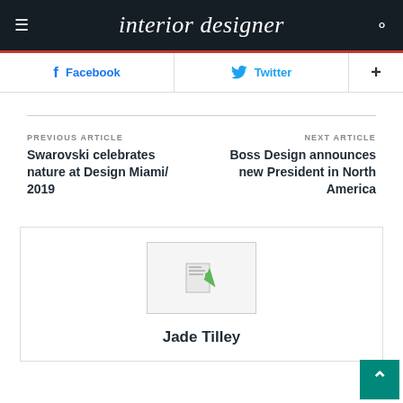interior designer
Facebook
Twitter
+
PREVIOUS ARTICLE
Swarovski celebrates nature at Design Miami/ 2019
NEXT ARTICLE
Boss Design announces new President in North America
[Figure (photo): Author avatar placeholder image for Jade Tilley]
Jade Tilley